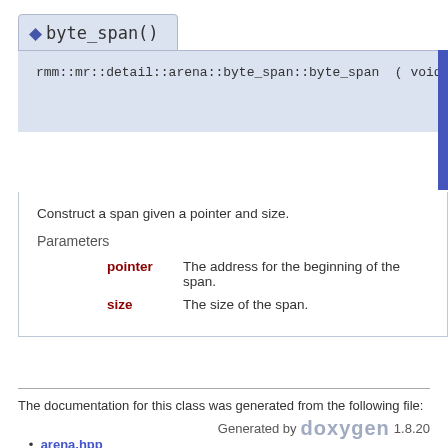◆ byte_span()
rmm::mr::detail::arena::byte_span::byte_span ( void * pointer, std::size_t size )
Construct a span given a pointer and size.
Parameters
pointer  The address for the beginning of the span.
size  The size of the span.
The documentation for this class was generated from the following file:
arena.hpp
Generated by doxygen 1.8.20